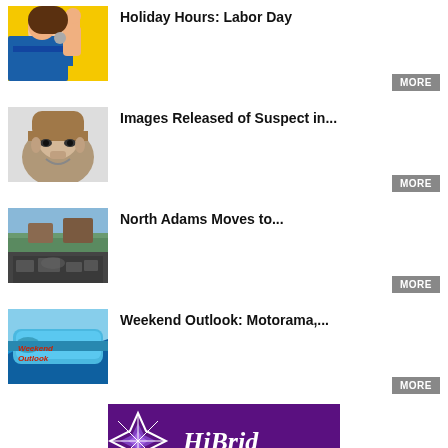[Figure (illustration): Rosie the Riveter style image - woman in blue shirt with raised fist on yellow background]
Holiday Hours: Labor Day
[Figure (photo): Police sketch of a male suspect]
Images Released of Suspect in...
[Figure (photo): Aerial view of North Adams showing flooded or waterlogged parking area]
North Adams Moves to...
[Figure (photo): Blue vintage car with Weekend Outlook text overlay]
Weekend Outlook: Motorama,...
[Figure (logo): HiBrid logo - purple background with stylized cannabis leaf diamond shape and HiBrid text in white script]